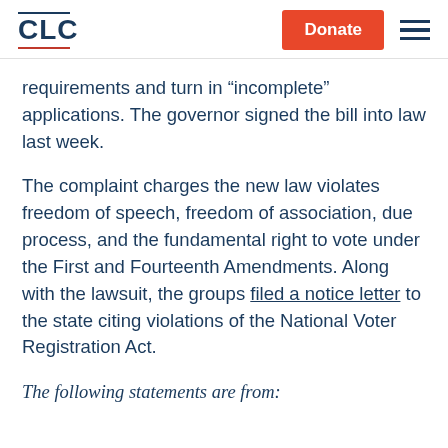CLC | Donate
requirements and turn in “incomplete” applications. The governor signed the bill into law last week.
The complaint charges the new law violates freedom of speech, freedom of association, due process, and the fundamental right to vote under the First and Fourteenth Amendments. Along with the lawsuit, the groups filed a notice letter to the state citing violations of the National Voter Registration Act.
The following statements are from: